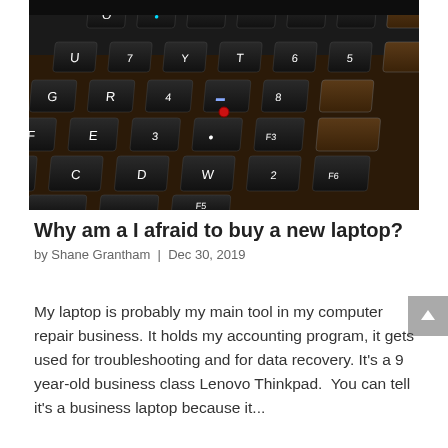[Figure (photo): Close-up photograph of a worn laptop keyboard (Lenovo ThinkPad style), showing black keys at an angle with letters and numbers visible including W, S, D, E, R, G, F, V, C, Y, U, and numeric keys. The keyboard shows signs of heavy use.]
Why am a I afraid to buy a new laptop?
by Shane Grantham | Dec 30, 2019
My laptop is probably my main tool in my computer repair business. It holds my accounting program, it gets used for troubleshooting and for data recovery. It's a 9 year-old business class Lenovo Thinkpad. You can tell it's a business laptop because it...